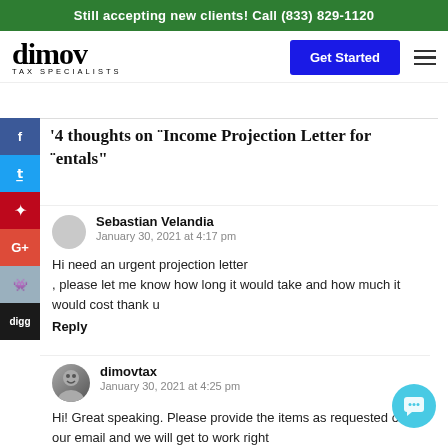Still accepting new clients! Call (833) 829-1120
[Figure (logo): Dimov Tax Specialists logo with 'Get Started' button and hamburger menu]
4 thoughts on "Income Projection Letter for Rentals"
Sebastian Velandia
January 30, 2021 at 4:17 pm

Hi need an urgent projection letter , please let me know how long it would take and how much it would cost thank u

Reply
dimovtax
January 30, 2021 at 4:25 pm

Hi! Great speaking. Please provide the items as requested over our email and we will get to work right